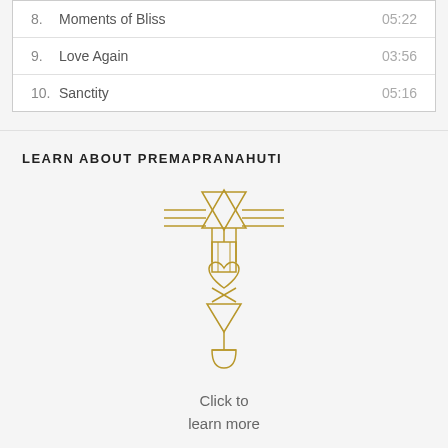| # | Title | Duration |
| --- | --- | --- |
| 8. | Moments of Bliss | 05:22 |
| 9. | Love Again | 03:56 |
| 10. | Sanctity | 05:16 |
LEARN ABOUT PREMAPRANAHUTI
[Figure (illustration): Golden line art symbol resembling a stylized spiritual emblem with star of david at top, horizontal lines, a heart in the middle, a downward triangle, and a chalice at the bottom]
Click to
learn more